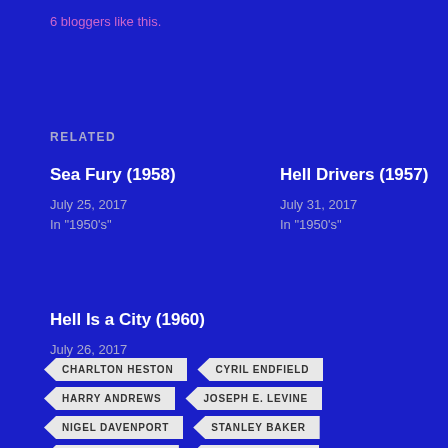6 bloggers like this.
RELATED
Sea Fury (1958)
July 25, 2017
In "1950's"
Hell Drivers (1957)
July 31, 2017
In "1950's"
Hell Is a City (1960)
July 26, 2017
In "1960's"
CHARLTON HESTON
CYRIL ENDFIELD
HARRY ANDREWS
JOSEPH E. LEVINE
NIGEL DAVENPORT
STANLEY BAKER
STUART WHITMAN
SUSANNAH YORK
THEODORE BIKEL